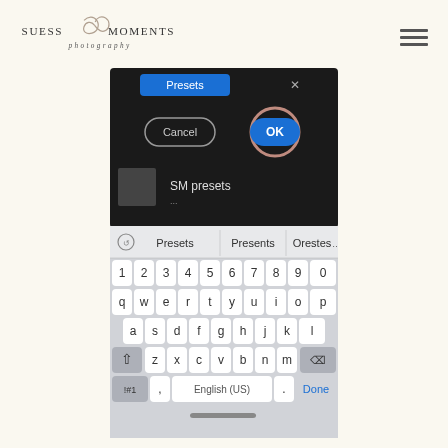SUESS MOMENTS photography
[Figure (screenshot): Screenshot of a mobile phone showing a Lightroom mobile dialog box with Cancel and OK buttons (OK highlighted in blue), SM presets folder name being typed, and an iPhone keyboard showing Presets autocorrect suggestion. Keyboard shows full QWERTY layout with English (US) space bar.]